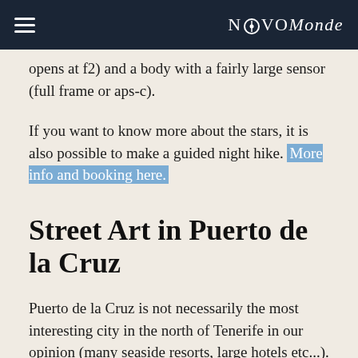NovoMonde
opens at f2) and a body with a fairly large sensor (full frame or aps-c).
If you want to know more about the stars, it is also possible to make a guided night hike. More info and booking here.
Street Art in Puerto de la Cruz
Puerto de la Cruz is not necessarily the most interesting city in the north of Tenerife in our opinion (many seaside resorts, large hotels etc...). But there is one thing that should not be missed in Puerto: the large graffiti that adorns the walls of